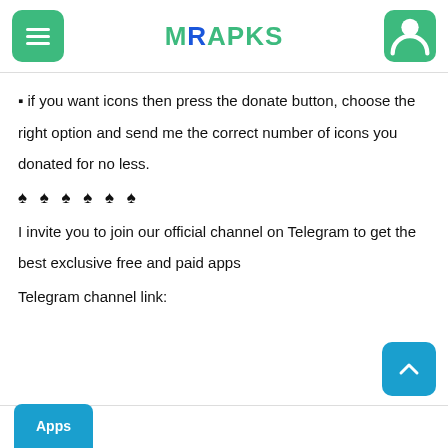MRAPKS
▪ if you want icons then press the donate button, choose the right option and send me the correct number of icons you donated for no less.
♠ ♠ ♠ ♠ ♠ ♠
I invite you to join our official channel on Telegram to get the best exclusive free and paid apps
Telegram channel link:
Apps